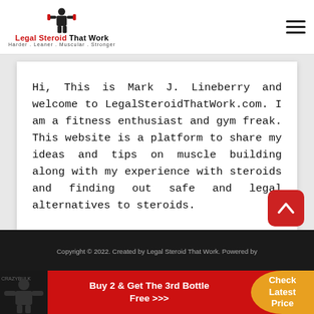Legal Steroid That Work — Harder. Leaner. Muscular. Stronger
Hi, This is Mark J. Lineberry and welcome to LegalSteroidThatWork.com. I am a fitness enthusiast and gym freak. This website is a platform to share my ideas and tips on muscle building along with my experience with steroids and finding out safe and legal alternatives to steroids.
Copyright © 2022. Created by Legal Steroid That Work. Powered by
Buy 2 & Get The 3rd Bottle Free >>>
Check Latest Price